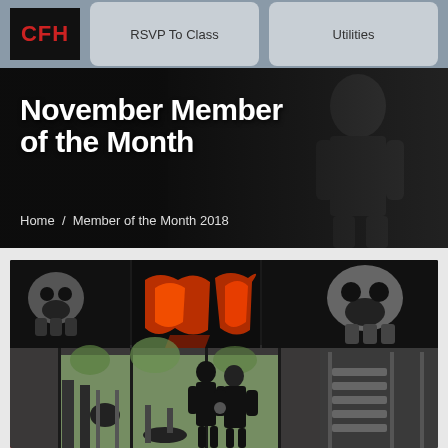CFH | RSVP To Class | Utilities
November Member of the Month
Home / Member of the Month 2018
[Figure (photo): Interior of a CrossFit gym showing two people posing in front of large mural panels with skull and graffiti artwork on the wall. Weight racks visible on the right side.]